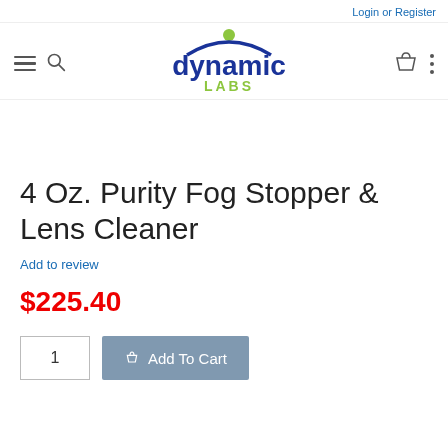Login or Register
[Figure (logo): Dynamic Labs logo with green circle, blue swoosh, and text 'dynamic LABS']
4 Oz. Purity Fog Stopper & Lens Cleaner
Add to review
$225.40
1   Add To Cart